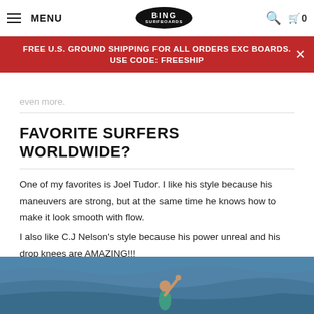MENU | BING SURFBOARDS | search | cart 0
FREE U.S. GROUND SHIPPING FOR ALL ORDERS EXC BOARDS. USE CODE: FREESHIP
even more.
FAVORITE SURFERS WORLDWIDE?
One of my favorites is Joel Tudor. I like his style because his maneuvers are strong, but at the same time he knows how to make it look smooth with flow.
I also like C.J Nelson's style because his power unreal and his drop knees are AMAZING!!!
Harley Ingleby does a more high performance type of longboarding, but he amazes me every time I see him surf as well.
[Figure (photo): Surfer in water with arm raised, ocean background, wearing teal/green wetsuit]